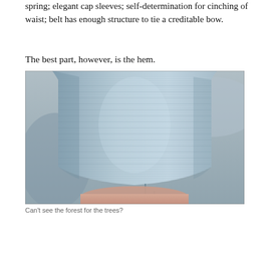spring; elegant cap sleeves; self-determination for cinching of waist; belt has enough structure to tie a creditable bow.
The best part, however, is the hem.
[Figure (photo): Close-up photograph of the hem of a knit dress or skirt showing a small slit at the bottom. The fabric appears to be a heathered gray/blue knit texture.]
Can't see the forest for the trees?